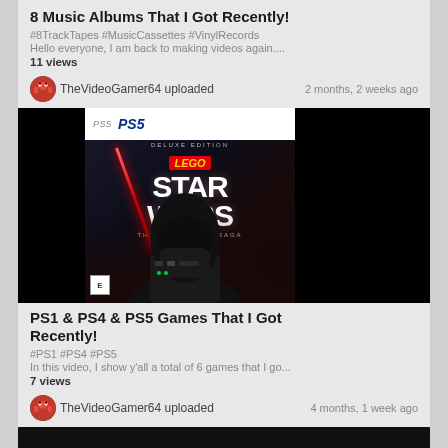8 Music Albums That I Got Recently!
#8TrackTapes #MusicCassettes #VinylRecords
Hello everyone, I am back to making videos again....
11 views
TheVideoGamer64 uploaded    2 months, 2 weeks ago
[Figure (screenshot): LEGO Star Wars The Skywalker Saga PS5 Deluxe Edition game cover with Darth Vader LEGO figure holding red lightsaber against dark background. Black bars on left and right sides of thumbnail.]
PS1 & PS4 & PS5 Games That I Got Recently!
#PS1 #PS4 #PS5
In this video, I show y'all a total of 6 games that I go...
7 views
TheVideoGamer64 uploaded    4 months, 1 week ago
[Figure (screenshot): Dark video thumbnail with a green bar at the bottom showing 'JOHN COUGAR' text]